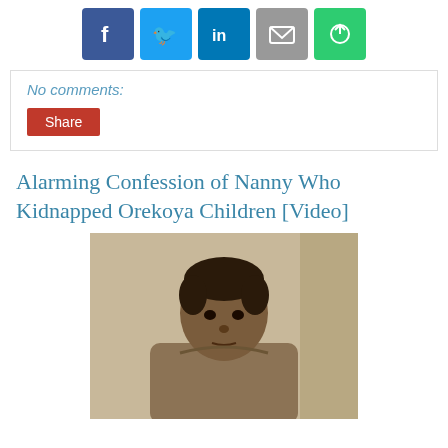[Figure (other): Social media share icons: Facebook, Twitter, LinkedIn, Email, ShareThis]
No comments:
Share
Alarming Confession of Nanny Who Kidnapped Orekoya Children [Video]
[Figure (photo): Photo of a woman looking downward, wearing a brown/tan top, standing against a light-colored wall]